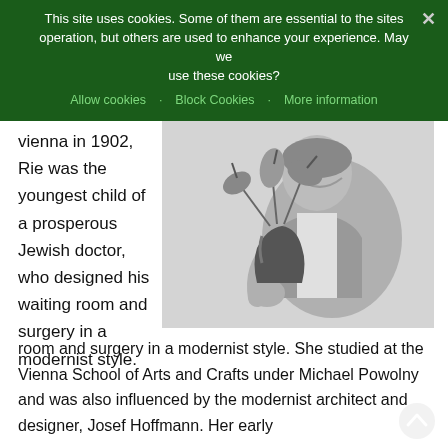This site uses cookies. Some of them are essential to the sites operation, but others are used to enhance your experience. May we use these cookies?
Allow cookies · Block Cookies · More information
vienna in 1902, Rie was the youngest child of a prosperous Jewish doctor, who designed his waiting room and surgery in a modernist style.
[Figure (photo): Black and white photograph of an elderly woman holding a ceramic vase with anthurium flowers, looking down at it.]
room and surgery in a modernist style. She studied at the Vienna School of Arts and Crafts under Michael Powolny and was also influenced by the modernist architect and designer, Josef Hoffmann. Her early